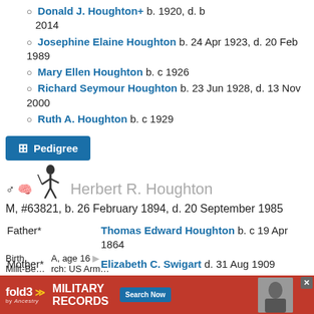Donald J. Houghton+ b. 1920, d. b 2014
Josephine Elaine Houghton b. 24 Apr 1923, d. 20 Feb 1989
Mary Ellen Houghton b. c 1926
Richard Seymour Houghton b. 23 Jun 1928, d. 13 Nov 2000
Ruth A. Houghton b. c 1929
Pedigree
Herbert R. Houghton
M, #63821, b. 26 February 1894, d. 20 September 1985
Father* Thomas Edward Houghton b. c 19 Apr 1864
Mother* Elizabeth C. Swigart d. 31 Aug 1909
Biography
Birth
Milit-Be...
[Figure (infographic): fold3 Military Records advertisement banner with red background, fold3 logo, MILITARY RECORDS text, Search Now button, and soldier photo]